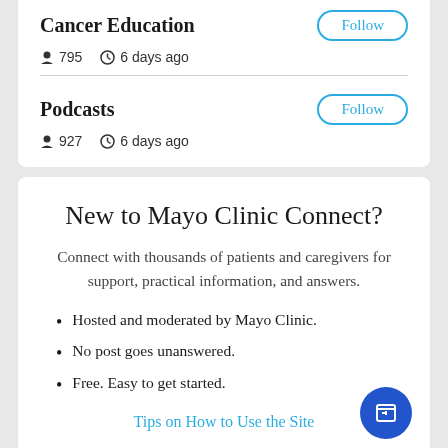Cancer Education
795   6 days ago
Podcasts
927   6 days ago
New to Mayo Clinic Connect?
Connect with thousands of patients and caregivers for support, practical information, and answers.
Hosted and moderated by Mayo Clinic.
No post goes unanswered.
Free. Easy to get started.
Tips on How to Use the Site